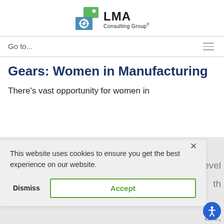[Figure (logo): LMA Consulting Group logo with green and teal gear icon and company name]
Go to...
Gears: Women in Manufacturing
There's vast opportunity for women in [manufacturing at every level...with...care,]
This website uses cookies to ensure you get the best experience on our website. Dismiss | Accept